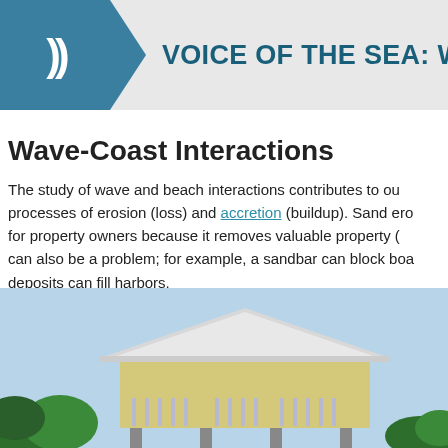VOICE OF THE SEA: Wave Ta
Wave-Coast Interactions
The study of wave and beach interactions contributes to our processes of erosion (loss) and accretion (buildup). Sand ero for property owners because it removes valuable property ( can also be a problem; for example, a sandbar can block boa deposits can fill harbors.
[Figure (photo): Photograph of a building (possibly a coastal structure or beach house) with a distinctive pyramid-style roof, elevated on supports, with palm trees and tropical vegetation visible in the foreground and background.]